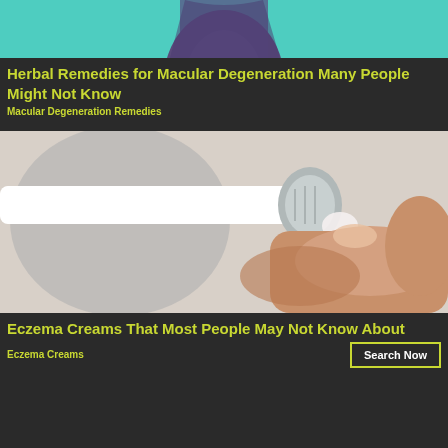[Figure (photo): Partial photo of a person or object with teal/green background, partially cropped at top]
Herbal Remedies for Macular Degeneration Many People Might Not Know
Macular Degeneration Remedies
[Figure (photo): Close-up photo of a hand squeezing cream from a white tube onto a fingertip]
Eczema Creams That Most People May Not Know About
Eczema Creams